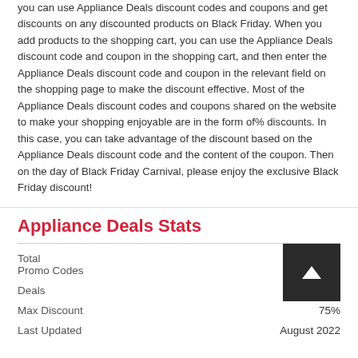you can use Appliance Deals discount codes and coupons and get discounts on any discounted products on Black Friday. When you add products to the shopping cart, you can use the Appliance Deals discount code and coupon in the shopping cart, and then enter the Appliance Deals discount code and coupon in the relevant field on the shopping page to make the discount effective. Most of the Appliance Deals discount codes and coupons shared on the website to make your shopping enjoyable are in the form of% discounts. In this case, you can take advantage of the discount based on the Appliance Deals discount code and the content of the coupon. Then on the day of Black Friday Carnival, please enjoy the exclusive Black Friday discount!
Appliance Deals Stats
|  |  |
| --- | --- |
| Total Promo Codes | 15 |
| Deals | 7 |
| Max Discount | 75% |
| Last Updated | August 2022 |